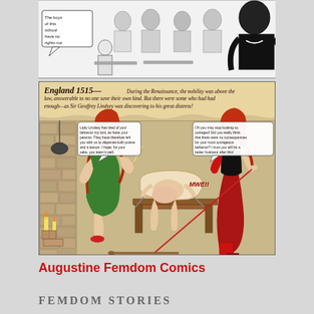[Figure (illustration): Black and white comic panel showing a classroom scene with figures. A speech bubble reads: 'The boys of this school have no rights nor']
[Figure (illustration): Color comic panel set in England 1515 during the Renaissance. Banner text reads: 'England 1515— During the Renaissance, the nobility was above the law, answerable to no one save their own kind. But there were some who had had enough—as Sir Geoffrey Lindsey was discovering to his great distress!' Shows two red-haired women in period dress with a male figure on a rack/table.]
Augustine Femdom Comics
FEMDOM STORIES